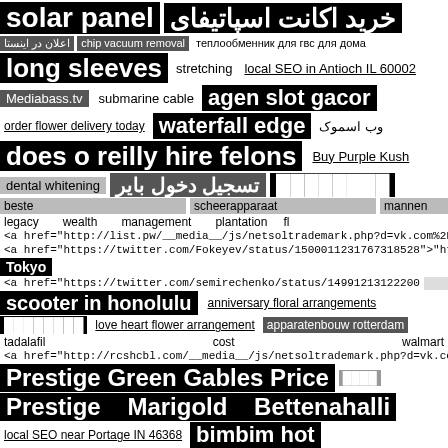solar panel  خرید اکانت اسپاتیفای
اعلان در اینستا  chip vacuum removal  теплообменник для гвс для дома
long sleeves  stretching  local SEO in Antioch IL 60002
Mediabass.tv  submarine cable  agen slot gacor
order flower delivery today  waterfall edge  وب اسموک
does o reilly hire felons  Buy Purple Kush
dental whitening  تسجيل دخول باير  ████████
beste  scheerapparaat  mannen
legacy  wealth  management  plantation  fl
<a href="http://list.pw/__media__/js/netsoltrademark.php?d=vk.com%2Fwall-2
<a href="https://twitter.com/Fokeyev/status/1500011231767318528">"https://t
Tokyo
<a href="https://twitter.com/semirechenko/status/14991213122200
scooter in honolulu  anniversary floral arrangements
████████  love heart flower arrangement  apparatenbouw rotterdam
tadalafil  cost  walmart
<a href="http://rcshcbl.com/__media__/js/netsoltrademark.php?d=vk.com%2F
Prestige Green Gables Price  ████
Prestige  Marigold  Bettenahalli
local SEO near Portage IN 46368  bimbim hot
Bigwin777  anxiety  ████